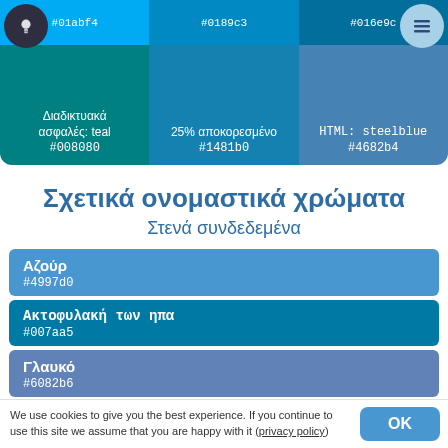[Figure (other): Color grid showing top color swatches: #01abf4, #0189c3, #016e9c in top row and #008080 (Διαδικτυακά ασφαλές: teal), #1481b0 (25% αποκορεσμένο), #4682b4 (HTML: steelblue) in bottom row]
Σχετικά ονομαστικά χρώματα
Στενά συνδεδεμένα
Αζούρ #4997d0
Ακτοφυλακή των ηπα #007aa5
Γλαυκό #6082b6
We use cookies to give you the best experience. If you continue to use this site we assume that you are happy with it (privacy policy)